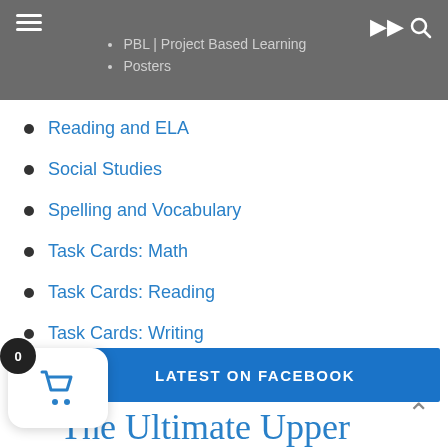PBL | Project Based Learning
Posters
Reading and ELA
Social Studies
Spelling and Vocabulary
Task Cards: Math
Task Cards: Reading
Task Cards: Writing
Teacher Organization
LATEST ON FACEBOOK
The Ultimate Upper